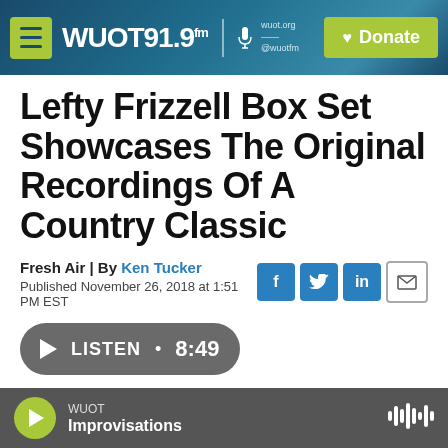WUOT 91.9 FM | wuot.org | @wuotfm | Donate
Lefty Frizzell Box Set Showcases The Original Recordings Of A Country Classic
Fresh Air | By Ken Tucker
Published November 26, 2018 at 1:51 PM EST
[Figure (screenshot): Social sharing icons: Facebook (f), Twitter (bird), LinkedIn (in), Email (envelope)]
LISTEN • 8:49
WUOT Improvisations